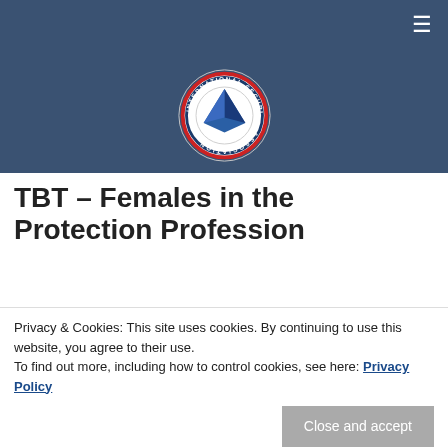≡
[Figure (logo): International Security Driver Association circular logo with blue diamond/triangle shape in center, white and red border ring with text 'INTERNATIONAL SECURITY DRIVER ASSOCIATION']
TBT – Females in the Protection Profession
By Tony Scotti on April 20th, 2017
[Figure (photo): Group of people outdoors, appears to be at a training event]
Recently, some
Privacy & Cookies: This site uses cookies. By continuing to use this website, you agree to their use.
To find out more, including how to control cookies, see here: Privacy Policy
Close and accept